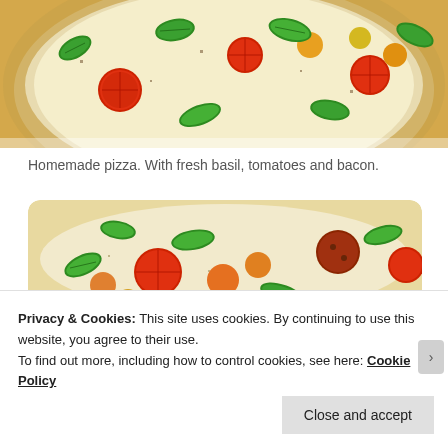[Figure (photo): Top-down view of a homemade pizza with fresh basil leaves, red tomatoes, and other toppings on a pale dough crust]
Homemade pizza.  With fresh basil, tomatoes and bacon.
[Figure (photo): Close-up of pizza toppings showing red, orange, and dark tomatoes, fresh green basil leaves, and herbs on a white base]
Privacy & Cookies: This site uses cookies. By continuing to use this website, you agree to their use.
To find out more, including how to control cookies, see here: Cookie Policy
Close and accept